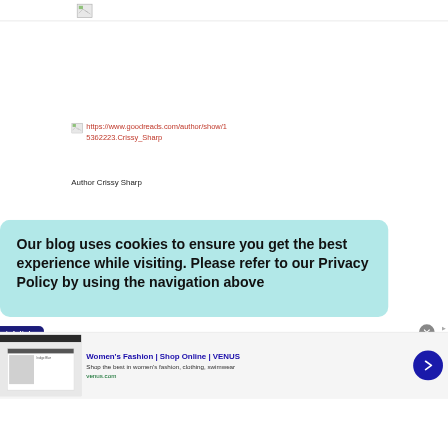[Figure (screenshot): Broken image icon at top of page, with a horizontal rule below it]
[Figure (screenshot): Broken image icon next to a Goodreads URL link]
https://www.goodreads.com/author/show/15362223.Crissy_Sharp
Author Crissy Sharp
Our blog uses cookies to ensure you get the best experience while visiting. Please refer to our Privacy Policy by using the navigation above
[Figure (logo): infolinks badge in bottom left]
[Figure (screenshot): Advertisement banner: Women's Fashion | Shop Online | VENUS, venus.com, with thumbnail and arrow button]